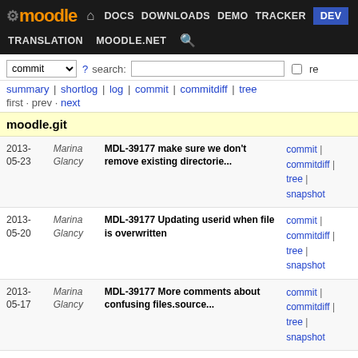moodle DOCS DOWNLOADS DEMO TRACKER DEV TRANSLATION MOODLE.NET
commit ▼ ? search: re
summary | shortlog | log | commit | commitdiff | tree
first · prev · next
moodle.git
| Date | Author | Message | Links |
| --- | --- | --- | --- |
| 2013-05-23 | Marina Glancy | MDL-39177 make sure we don't remove existing directorie... | commit | commitdiff | tree | snapshot |
| 2013-05-20 | Marina Glancy | MDL-39177 Updating userid when file is overwritten | commit | commitdiff | tree | snapshot |
| 2013-05-17 | Marina Glancy | MDL-39177 More comments about confusing files.source... | commit | commitdiff | tree | snapshot |
| 2013-05-17 | Marina Glancy | MDL-39177 New function file_storage::get_unused_dirname() | commit | commitdiff | tree | snapshot |
| 2013-05-17 | Marina Glancy | MDL-39177 Ensure files are overwritten correctly on... | commit | commitdiff | tree | snapshot |
| 2013-05-17 | Marina Glancy | MDL-39177 Perform all checks on draftfile area before... | commit | commitdiff | tree | snapshot |